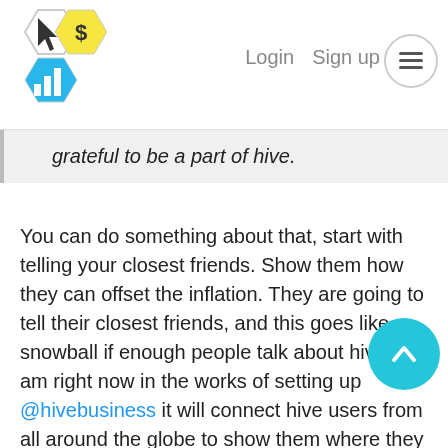Login  Sign up  ☰
[Figure (logo): Hive hexagonal logo with cursor, dollar sign, and bar chart icons in green, yellow, and blue]
grateful to be a part of hive.
You can do something about that, start with telling your closest friends. Show them how they can offset the inflation. They are going to tell their closest friends, and this goes like a snowball if enough people talk about hive. I am right now in the works of setting up @hivebusiness it will connect hive users from all around the globe to show them where they can pay in $HBD we need many more use cases for HBD so if you know anyone who accepts crypto for, food, accomodation rentals. Any local service. Please feel free to enter a listing.
I am sponsoring the listing price to the first ten